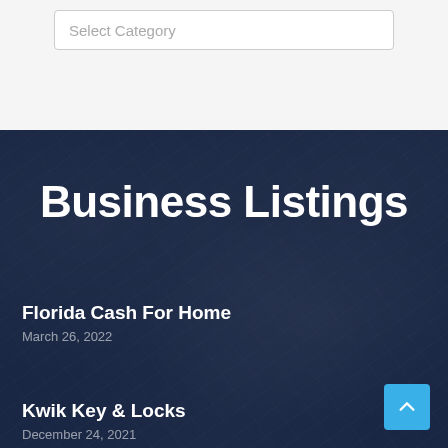[Figure (screenshot): A dropdown/select input field with placeholder text 'Select Category' on a light gray background]
Business Listings
Florida Cash For Home
March 26, 2022
Kwik Key & Locks
December 24, 2021